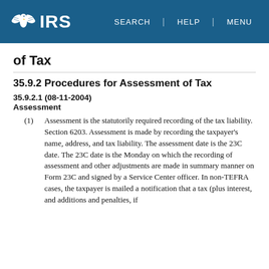IRS | SEARCH | HELP | MENU
of Tax
35.9.2 Procedures for Assessment of Tax
35.9.2.1 (08-11-2004)
Assessment
(1) Assessment is the statutorily required recording of the tax liability. Section 6203. Assessment is made by recording the taxpayer's name, address, and tax liability. The assessment date is the 23C date. The 23C date is the Monday on which the recording of assessment and other adjustments are made in summary manner on Form 23C and signed by a Service Center officer. In non-TEFRA cases, the taxpayer is mailed a notification that a tax (plus interest, and additions and penalties, if